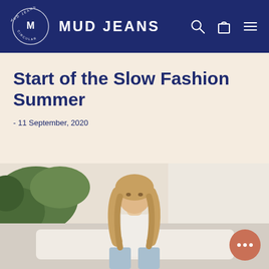MUD JEANS
Start of the Slow Fashion Summer
- 11 September, 2020
[Figure (photo): Woman with long blonde wavy hair wearing a white tank top and light blue jeans, seated outdoors near greenery and a white structure, looking at camera]